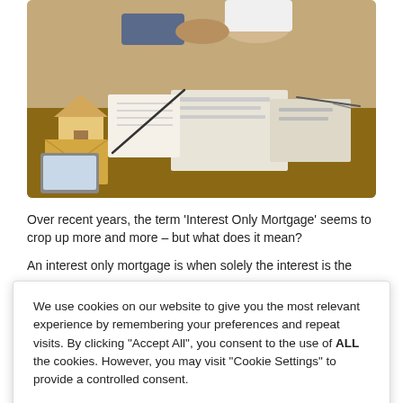[Figure (photo): Photo of people shaking hands over a desk with a small wooden house model, documents, and notebook visible, suggesting a mortgage or real estate transaction.]
Over recent years, the term 'Interest Only Mortgage' seems to crop up more and more – but what does it mean?
An interest only mortgage is when solely the interest is the
We use cookies on our website to give you the most relevant experience by remembering your preferences and repeat visits. By clicking "Accept All", you consent to the use of ALL the cookies. However, you may visit "Cookie Settings" to provide a controlled consent.